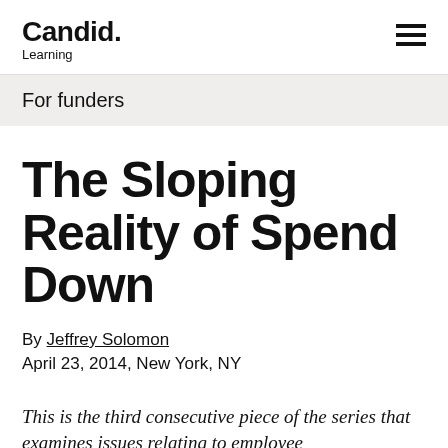Candid. Learning
For funders
The Sloping Reality of Spend Down
By Jeffrey Solomon
April 23, 2014, New York, NY
This is the third consecutive piece of the series that examines issues relating to employee